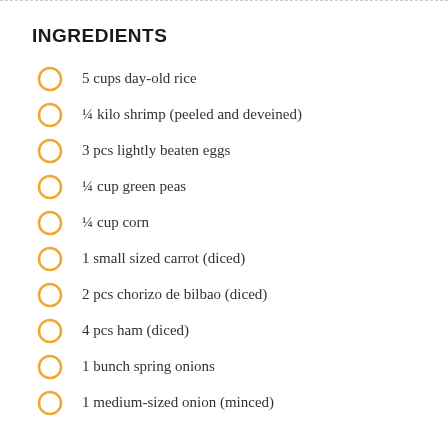INGREDIENTS
5 cups day-old rice
¼ kilo shrimp (peeled and deveined)
3 pcs lightly beaten eggs
¼ cup green peas
¼ cup corn
1 small sized carrot (diced)
2 pcs chorizo de bilbao (diced)
4 pcs ham (diced)
1 bunch spring onions
1 medium-sized onion (minced)